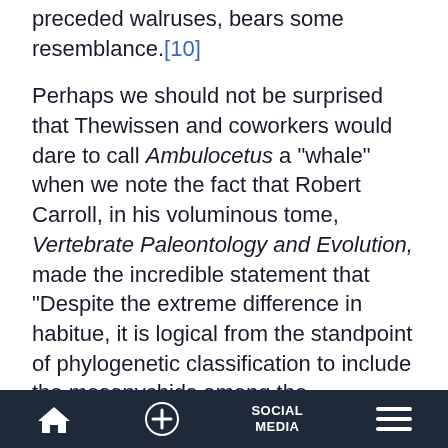cannot acquaint survivors believed to have preceded walruses, bears some resemblance.[10]
Perhaps we should not be surprised that Thewissen and coworkers would dare to call Ambulocetus a "whale" when we note the fact that Robert Carroll, in his voluminous tome, Vertebrate Paleontology and Evolution, made the incredible statement that "Despite the extreme difference in habitue, it is logical from the standpoint of phylogenetic classification to include the mesonychids among the
Home | + | SOCIAL MEDIA | Menu